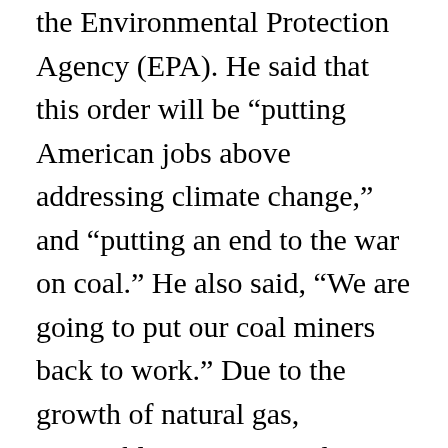the Environmental Protection Agency (EPA). He said that this order will be “putting American jobs above addressing climate change,” and “putting an end to the war on coal.” He also said, “We are going to put our coal miners back to work.” Due to the growth of natural gas, renewable power, outside suppliers and mine mechanization,